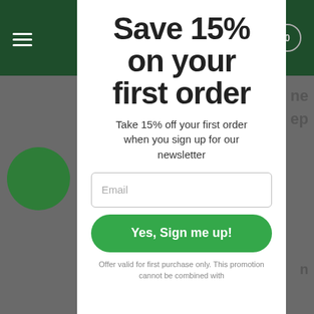[Figure (screenshot): Website header bar with dark green background, hamburger menu icon on left, and cart icon with '0' on right]
Save 15% on your first order
Take 15% off your first order when you sign up for our newsletter
Email
Yes, Sign me up!
Offer valid for first purchase only. This promotion cannot be combined with